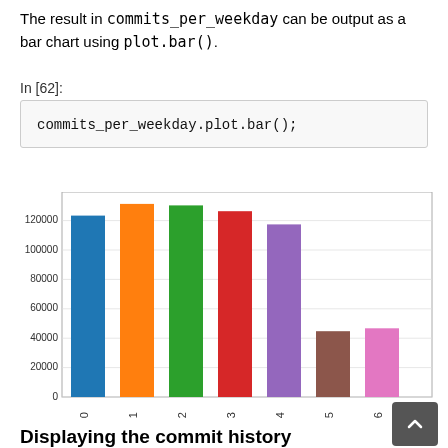The result in commits_per_weekday can be output as a bar chart using plot.bar().
In [62]:
commits_per_weekday.plot.bar();
[Figure (bar-chart): ]
Displaying the commit history